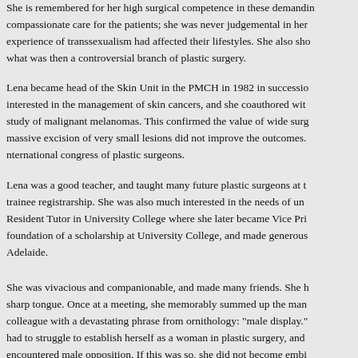She is remembered for her high surgical competence in these demanding cases, compassionate care for the patients; she was never judgemental in her attitude to how experience of transsexualism had affected their lifestyles. She also showed courage in what was then a controversial branch of plastic surgery.
Lena became head of the Skin Unit in the PMCH in 1982 in succession to ... interested in the management of skin cancers, and she coauthored with ... study of malignant melanomas. This confirmed the value of wide surgical excision, but that massive excision of very small lesions did not improve the outcomes. ... nternational congress of plastic surgeons.
Lena was a good teacher, and taught many future plastic surgeons at th... trainee registrarship. She was also much interested in the needs of und... Resident Tutor in University College where she later became Vice Pri... foundation of a scholarship at University College, and made generous ... Adelaide.
She was vivacious and companionable, and made many friends. She h... sharp tongue. Once at a meeting, she memorably summed up the many... colleague with a devastating phrase from ornithology: "male display." had to struggle to establish herself as a woman in plastic surgery, and i... encountered male opposition. If this was so, she did not become embit...